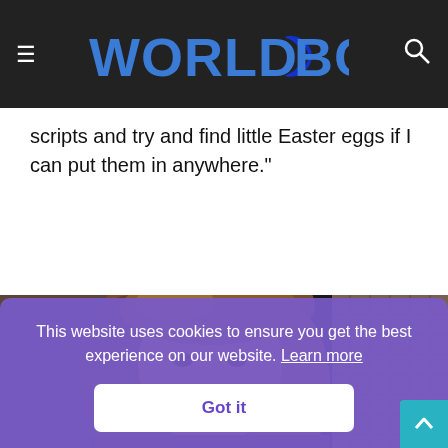WORLD ABC NEWS
scripts and try and find little Easter eggs if I can put them in anywhere."
[Figure (photo): Woman with long brown highlighted hair smiling, wearing hoop earrings, photographed in front of a metal cage/industrial background]
This website uses cookies to ensure you get the best experience on our website. Learn more
Got it